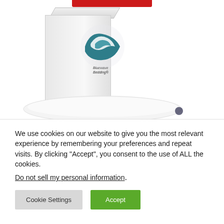[Figure (photo): Product photo: Bluewave Bedding box with wave logo and a flat white pillow in front, on white background. Red bar decoration at top center.]
We use cookies on our website to give you the most relevant experience by remembering your preferences and repeat visits. By clicking “Accept”, you consent to the use of ALL the cookies.
Do not sell my personal information.